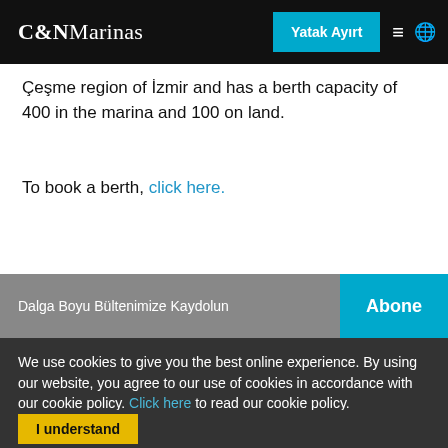C&NMarinas | Yatak Ayırt
Çeşme region of İzmir and has a berth capacity of 400 in the marina and 100 on land.
To book a berth, click here.
Dalga Boyu Bültenimize Kaydolun | Abone
We use cookies to give you the best online experience. By using our website, you agree to our use of cookies in accordance with our cookie policy. Click here to read our cookie policy.
I understand